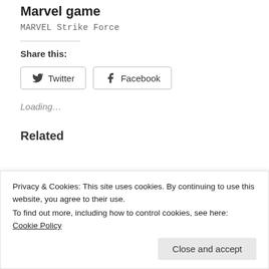Marvel game
MARVEL Strike Force
Share this:
Twitter  Facebook
Loading...
Related
Privacy & Cookies: This site uses cookies. By continuing to use this website, you agree to their use.
To find out more, including how to control cookies, see here:
Cookie Policy
Close and accept
In "Federal budget &
SUPREME COURT